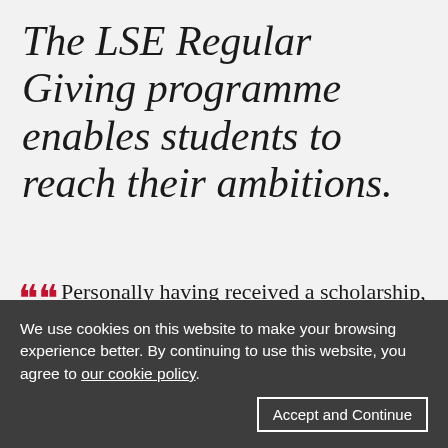The LSE Regular Giving programme enables students to reach their ambitions.
Personally having received a scholarship, I feel I have a responsibility to make a difference whenever I can. Rohan Krishniah
We use cookies on this website to make your browsing experience better. By continuing to use this website, you agree to our cookie policy.